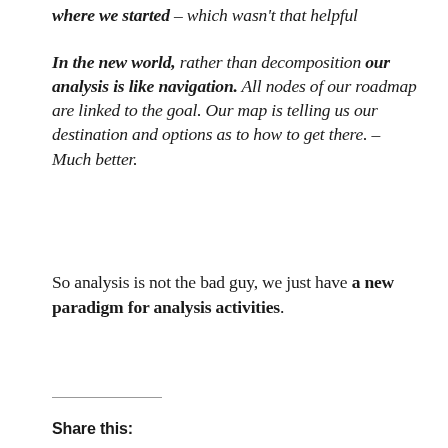where we started – which wasn't that helpful
In the new world, rather than decomposition our analysis is like navigation. All nodes of our roadmap are linked to the goal. Our map is telling us our destination and options as to how to get there. – Much better.
So analysis is not the bad guy, we just have a new paradigm for analysis activities.
Share this: